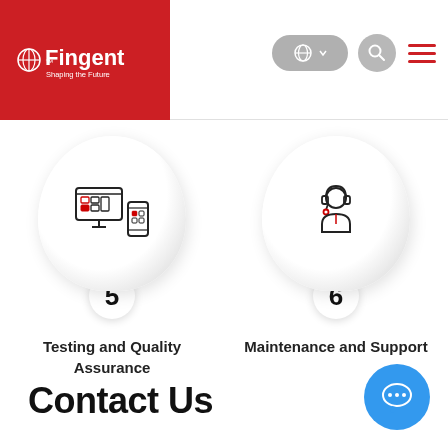[Figure (logo): Fingent logo - white globe icon with red background, text Fingent with tagline Shaping the Future]
[Figure (screenshot): Navigation bar with language selector pill, search circle button, and red hamburger menu icon]
[Figure (infographic): Card 5: bubble shape with multi-device testing icon and number 5 badge, labeled Testing and Quality Assurance]
Testing and Quality Assurance
[Figure (infographic): Card 6: bubble shape with customer support agent icon and number 6 badge, labeled Maintenance and Support]
Maintenance and Support
Contact Us
[Figure (other): Blue circular chat button with three dots icon]